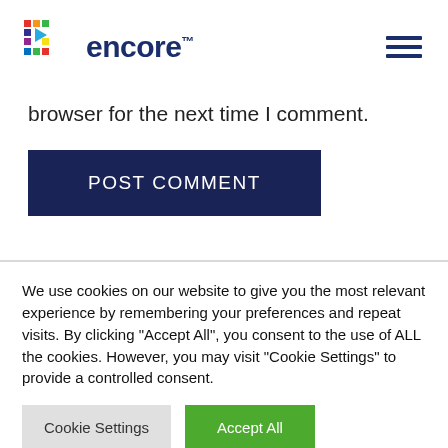[Figure (logo): Encore company logo with colorful pixel/dot grid icon and navy blue text 'encore']
browser for the next time I comment.
POST COMMENT
We use cookies on our website to give you the most relevant experience by remembering your preferences and repeat visits. By clicking "Accept All", you consent to the use of ALL the cookies. However, you may visit "Cookie Settings" to provide a controlled consent.
Cookie Settings
Accept All